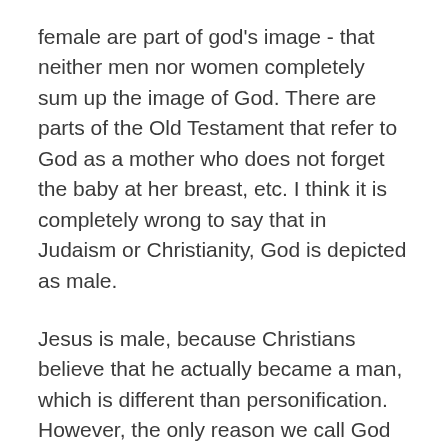female are part of god's image - that neither men nor women completely sum up the image of God. There are parts of the Old Testament that refer to God as a mother who does not forget the baby at her breast, etc. I think it is completely wrong to say that in Judaism or Christianity, God is depicted as male.
Jesus is male, because Christians believe that he actually became a man, which is different than personification. However, the only reason we call God "He" is because in English it sounds disrespectful to say "it" - there is not a gender ascribed to god in either religion.